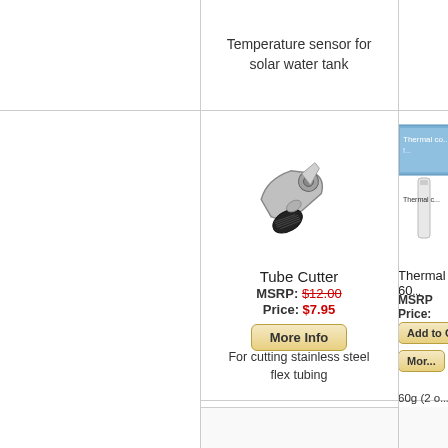Temperature sensor for solar water tank
[Figure (photo): Tube cutter tool - chrome metal pipe cutter with black handle]
Tube Cutter
MSRP: $12.00
Price: $7.95
More Info
For cutting stainless steel flex tubing
[Figure (photo): Thermal compound product - partial view of blue box and tube labeled Thermal compound]
Thermal Con... 60...
MSRP
Price:
Add to C...
Mor...
60g (2 o...